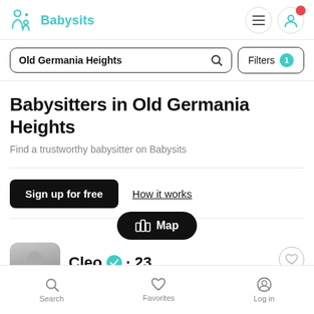[Figure (screenshot): Babysits app logo — teal person/baby icon with the text 'Babysits' in teal]
Old Germania Heights (search bar content)
Filters 1
Babysitters in Old Germania Heights
Find a trustworthy babysitter on Babysits
Sign up for free
How it works
Map
Cleo • 23
Search
Favorites
Log in